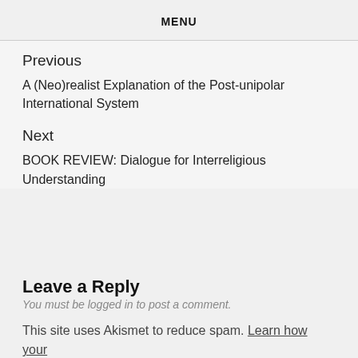MENU
Previous
A (Neo)realist Explanation of the Post-unipolar International System
Next
BOOK REVIEW: Dialogue for Interreligious Understanding
Leave a Reply
You must be logged in to post a comment.
This site uses Akismet to reduce spam. Learn how your comment data is processed.